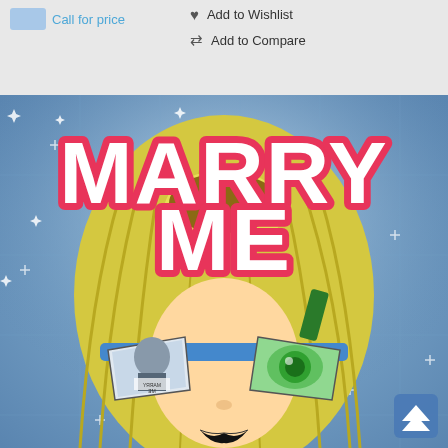Call for price
Add to Wishlist
Add to Compare
[Figure (illustration): Comic-style illustration of a blonde character wearing reflective glasses, with large pink graffiti-style 'MARRY ME' text at the top on a blue sparkly background. The glasses reflect an image of a person holding a sign that reads 'MARRY ME'.]